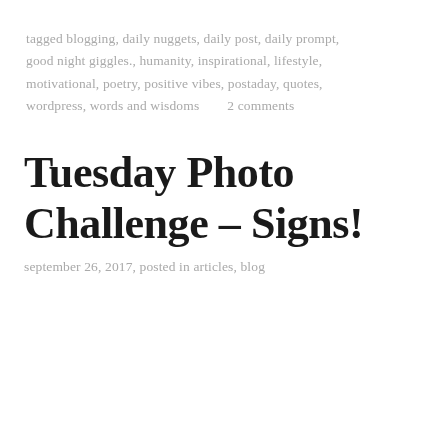tagged blogging, daily nuggets, daily post, daily prompt, good night giggles., humanity, inspirational, lifestyle, motivational, poetry, positive vibes, postaday, quotes, wordpress, words and wisdoms       2 comments
Tuesday Photo Challenge – Signs!
september 26, 2017, posted in articles, blog